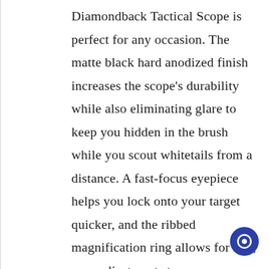Diamondback Tactical Scope is perfect for any occasion. The matte black hard anodized finish increases the scope's durability while also eliminating glare to keep you hidden in the brush while you scout whitetails from a distance. A fast-focus eyepiece helps you lock onto your target quicker, and the ribbed magnification ring allows for fast, easy adjustments to ensure you don't miss that perfect shot. Grab a Vortex Tactical rifle scope today to unlock your full potential and deliver your best shooting performance yet.
[Figure (other): Blue circular chat/support button icon in bottom-right corner]